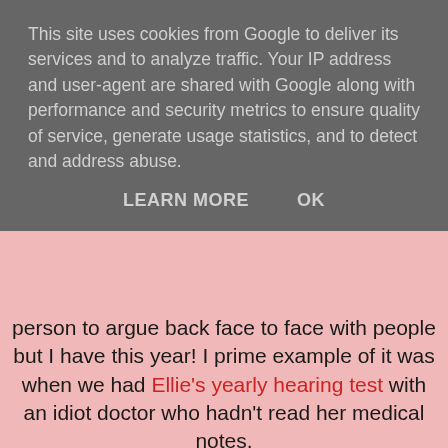This site uses cookies from Google to deliver its services and to analyze traffic. Your IP address and user-agent are shared with Google along with performance and security metrics to ensure quality of service, generate usage statistics, and to detect and address abuse.
LEARN MORE   OK
person to argue back face to face with people but I have this year! I prime example of it was when we had Ellie's yearly hearing test with an idiot doctor who hadn't read her medical notes.
11. Tell us the challenges you overcame?
Not relying on my dad to help us out with things around the house and giving us lifts places because we had to keep our distance from him. It has been hard especially when we had an appointment in town and the buses stopped running for a few hours because of a crash on the Humber bridge. Usually I would have rang him to pick us up but couldn't